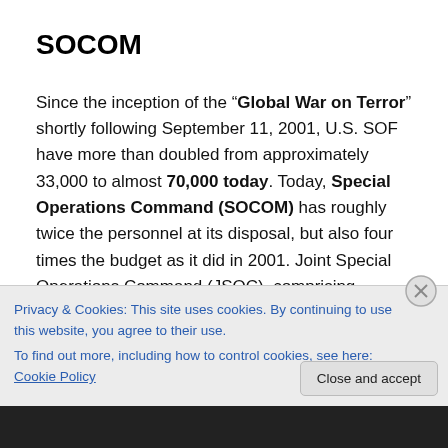SOCOM
Since the inception of the “Global War on Terror” shortly following September 11, 2001, U.S. SOF have more than doubled from approximately 33,000 to almost 70,000 today. Today, Special Operations Command (SOCOM) has roughly twice the personnel at its disposal, but also four times the budget as it did in 2001. Joint Special Operations Command (JSOC), comprising perhaps the most elite and specialized of the SOF forces, numbered
Privacy & Cookies: This site uses cookies. By continuing to use this website, you agree to their use.
To find out more, including how to control cookies, see here: Cookie Policy
Close and accept